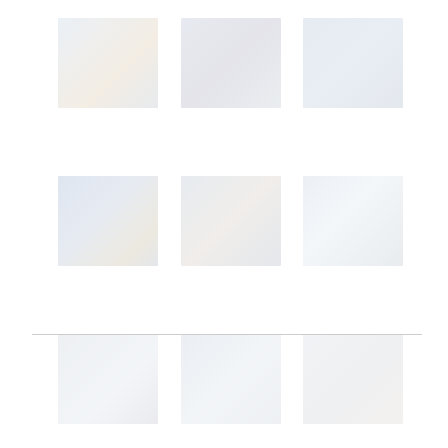[Figure (photo): Grid of 9 faded/washed-out photographs arranged in 3 rows of 3, showing what appear to be industrial or workshop scenes. Row 1: three photos of machinery or equipment areas. Row 2: three photos of similar industrial/workshop settings. Row 3: three more photos of equipment or vehicle scenes. All images are very light/faded with a blue-white tint.]
[Figure (other): Horizontal divider line near the bottom of the page]